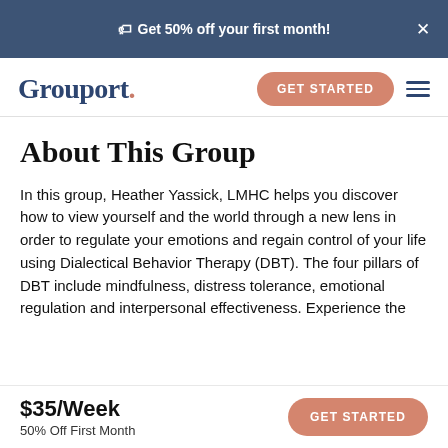Get 50% off your first month!
[Figure (logo): Grouport logo with GET STARTED button and hamburger menu]
About This Group
In this group, Heather Yassick, LMHC helps you discover how to view yourself and the world through a new lens in order to regulate your emotions and regain control of your life using Dialectical Behavior Therapy (DBT). The four pillars of DBT include mindfulness, distress tolerance, emotional regulation and interpersonal effectiveness. Experience the
$35/Week
50% Off First Month